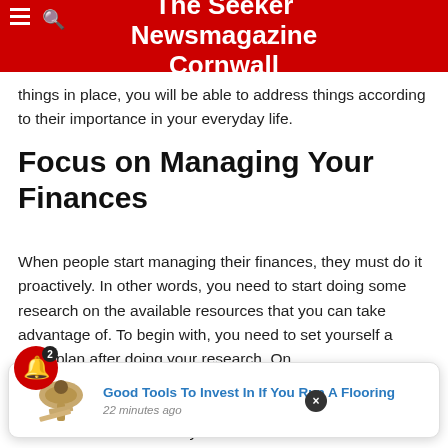The Seeker Newsmagazine Cornwall
things in place, you will be able to address things according to their importance in your everyday life.
Focus on Managing Your Finances
When people start managing their finances, they must do it proactively. In other words, you need to start doing some research on the available resources that you can take advantage of. To begin with, you need to set yourself a clear plan after doing your research. One way to start managing is getting a loan. ...ant Cash... kinds of loans can be very beneficial because it allows
[Figure (infographic): Notification popup showing a flooring tool (trowel/scraper) image with title 'Good Tools To Invest In If You Run A Flooring' and '22 minutes ago' timestamp]